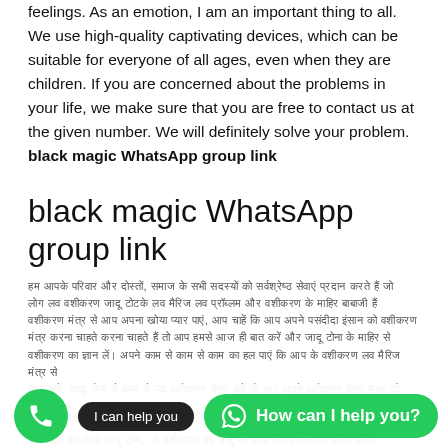feelings. As an emotion, I am an important thing to all. We use high-quality captivating devices, which can be suitable for everyone of all ages, even when they are children. If you are concerned about the problems in your life, we make sure that you are free to contact us at the given number. We will definitely solve your problem. black magic WhatsApp group link
black magic WhatsApp group link
[Hindi/Devanagari script text paragraph]
[Figure (screenshot): Bottom UI overlay with green phone button, 'I can help you' dark label, and green WhatsApp 'How can I help you?' button]